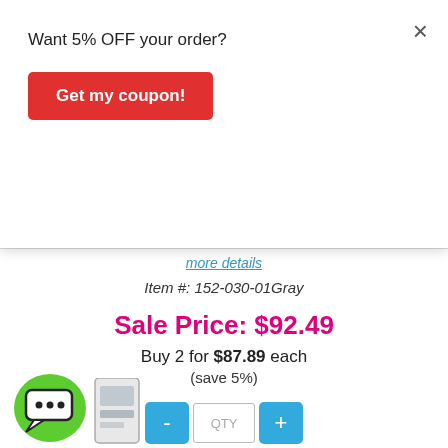Want 5% OFF your order?
Get my coupon!
more details
Item #: 152-030-01Gray
Sale Price: $92.49
Buy 2 for $87.89 each
(save 5%)
QTY
Add to Cart
Replacement for Canon PFI-